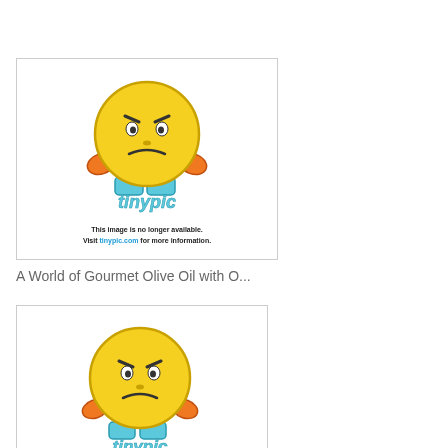[Figure (illustration): Tinypic broken image placeholder showing an angry emoji character with the text 'This image is no longer available. Visit tinypic.com for more information.']
A World of Gourmet Olive Oil with O...
[Figure (illustration): Tinypic broken image placeholder showing an angry emoji character with the text 'This image is no longer available. Visit tinypic.com for more information.']